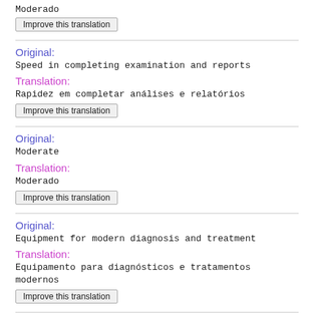Moderado
Improve this translation
Original:
Speed in completing examination and reports
Translation:
Rapidez em completar análises e relatórios
Improve this translation
Original:
Moderate
Translation:
Moderado
Improve this translation
Original:
Equipment for modern diagnosis and treatment
Translation:
Equipamento para diagnósticos e tratamentos modernos
Improve this translation
Original: